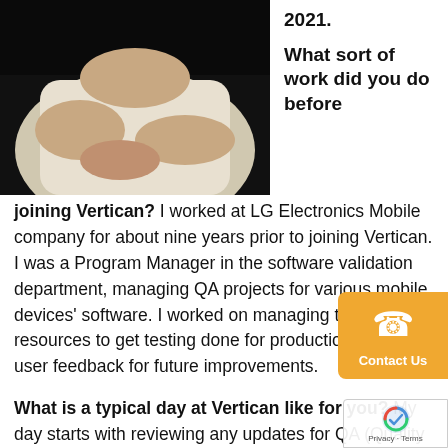[Figure (photo): Partial photo of a person (cropped, showing torso/hands area with dark background)]
2021.
What sort of work did you do before joining Vertican? I worked at LG Electronics Mobile company for about nine years prior to joining Vertican. I was a Program Manager in the software validation department, managing QA projects for various mobile devices' software. I worked on managing time and resources to get testing done for production and end-user feedback for future improvements.
What is a typical day at Vertican like for you? My day starts with reviewing any updates for QA (Quality Assurance) tickets that I am working on and attending standup meetings for any projects that I am actively performing QA on. Then my day continues with me working on tickets for various products. I still have much to learn and train on, so I try to squeeze in some training